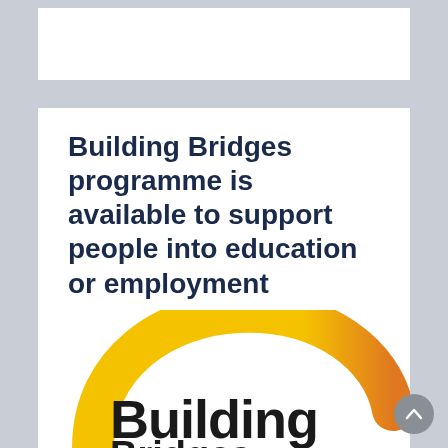Building Bridges programme is available to support people into education or employment
[Figure (logo): Building Bridges programme logo — yellow and orange arc swoosh above the word 'Building' in bold black text, with a partial second line below]